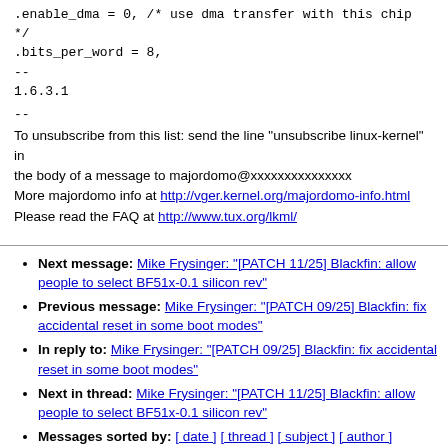.enable_dma = 0, /* use dma transfer with this chip */
.bits_per_word = 8,
--
1.6.3.1
--
To unsubscribe from this list: send the line "unsubscribe linux-kernel" in
the body of a message to majordomo@xxxxxxxxxxxxxxx
More majordomo info at http://vger.kernel.org/majordomo-info.html
Please read the FAQ at http://www.tux.org/lkml/
Next message: Mike Frysinger: "[PATCH 11/25] Blackfin: allow people to select BF51x-0.1 silicon rev"
Previous message: Mike Frysinger: "[PATCH 09/25] Blackfin: fix accidental reset in some boot modes"
In reply to: Mike Frysinger: "[PATCH 09/25] Blackfin: fix accidental reset in some boot modes"
Next in thread: Mike Frysinger: "[PATCH 11/25] Blackfin: allow people to select BF51x-0.1 silicon rev"
Messages sorted by: [ date ] [ thread ] [ subject ] [ author ]